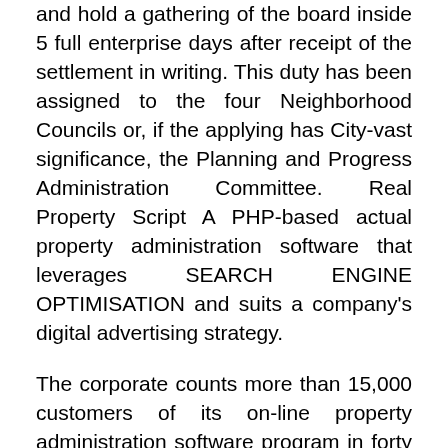and hold a gathering of the board inside 5 full enterprise days after receipt of the settlement in writing. This duty has been assigned to the four Neighborhood Councils or, if the applying has City-vast significance, the Planning and Progress Administration Committee. Real Property Script A PHP-based actual property administration software that leverages SEARCH ENGINE OPTIMISATION and suits a company's digital advertising strategy.
The corporate counts more than 15,000 customers of its on-line property administration software program in forty six countries. If DIY residence improvement is your thing, good for you; you can save numerous money once you shop home improvement on eBay and put your personal non-public stamp in your property on the identical time. Your real estate dealer ensures that clients who visit your property are severe and certified consumers, which helps save helpful time.